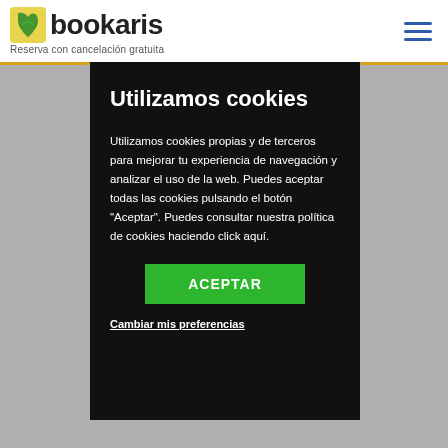bookaris — Reserva con cancelación gratuita
Utilizamos cookies
Utilizamos cookies propias y de terceros para mejorar tu experiencia de navegación y analizar el uso de la web. Puedes aceptar todas las cookies pulsando el botón "Aceptar". Puedes consultar nuestra política de cookies haciendo click aquí.
ACEPTAR
Cambiar mis preferencias